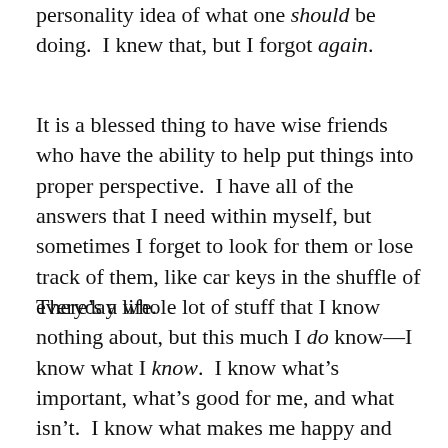personality idea of what one should be doing.  I knew that, but I forgot again.
It is a blessed thing to have wise friends who have the ability to help put things into proper perspective.  I have all of the answers that I need within myself, but sometimes I forget to look for them or lose track of them, like car keys in the shuffle of everyday life.
There’s a whole lot of stuff that I know nothing about, but this much I do know—I know what I know.  I know what’s important, what’s good for me, and what isn’t.  I know what makes me happy and what doesn’t.  I know that inner knowing is the key to happiness because it sifts the should’s and gotta do’s out of the mind and